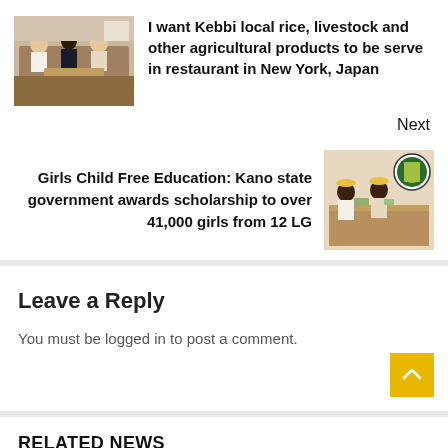[Figure (photo): Group photo of people in traditional attire seated at a table]
I want Kebbi local rice, livestock and other agricultural products to be serve in restaurant in New York, Japan
Next
Girls Child Free Education: Kano state government awards scholarship to over 41,000 girls from 12 LG
[Figure (photo): Officials seated at a meeting table with a Nigerian state coat of arms on the wall]
Leave a Reply
You must be logged in to post a comment.
RELATED NEWS